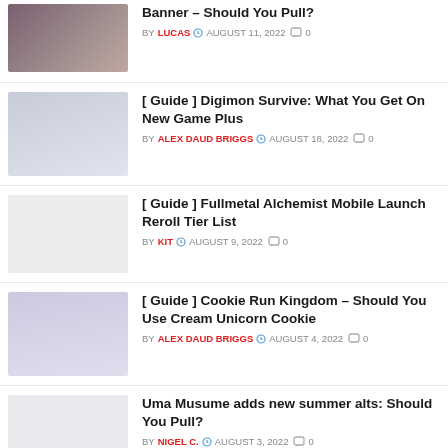Banner – Should You Pull? BY LUCAS AUGUST 11, 2022 0
[ Guide ] Digimon Survive: What You Get On New Game Plus BY ALEX DAUD BRIGGS AUGUST 18, 2022 0
[ Guide ] Fullmetal Alchemist Mobile Launch Reroll Tier List BY KIT AUGUST 9, 2022 0
[ Guide ] Cookie Run Kingdom – Should You Use Cream Unicorn Cookie BY ALEX DAUD BRIGGS AUGUST 4, 2022 0
Uma Musume adds new summer alts: Should You Pull? BY NIGEL C. AUGUST 3, 2022 0
[ Guide ] Slime ISEKAI Memories Battle Characters Tier List (Aug 2022)